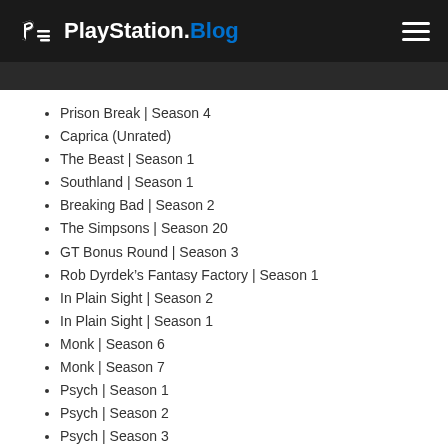PlayStation.Blog
Prison Break | Season 4
Caprica (Unrated)
The Beast | Season 1
Southland | Season 1
Breaking Bad | Season 2
The Simpsons | Season 20
GT Bonus Round | Season 3
Rob Dyrdek’s Fantasy Factory | Season 1
In Plain Sight | Season 2
In Plain Sight | Season 1
Monk | Season 6
Monk | Season 7
Psych | Season 1
Psych | Season 2
Psych | Season 3